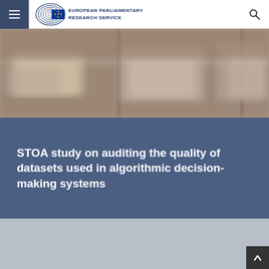European Parliamentary Research Service
[Figure (photo): Blurred background photo showing stacks of boxes or documents in a warehouse/archive setting]
STOA study on auditing the quality of datasets used in algorithmic decision-making systems